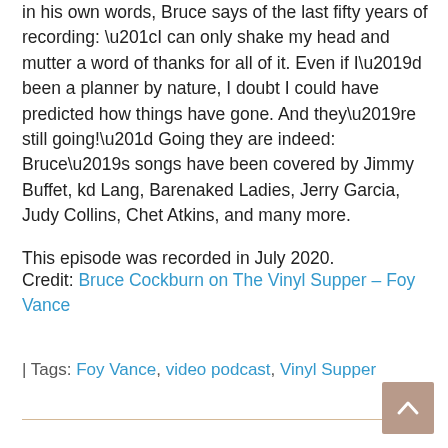in his own words, Bruce says of the last fifty years of recording: “I can only shake my head and mutter a word of thanks for all of it. Even if I’d been a planner by nature, I doubt I could have predicted how things have gone. And they’re still going!” Going they are indeed: Bruce’s songs have been covered by Jimmy Buffet, kd Lang, Barenaked Ladies, Jerry Garcia, Judy Collins, Chet Atkins, and many more.
This episode was recorded in July 2020.
Credit: Bruce Cockburn on The Vinyl Supper – Foy Vance
| Tags: Foy Vance, video podcast, Vinyl Supper